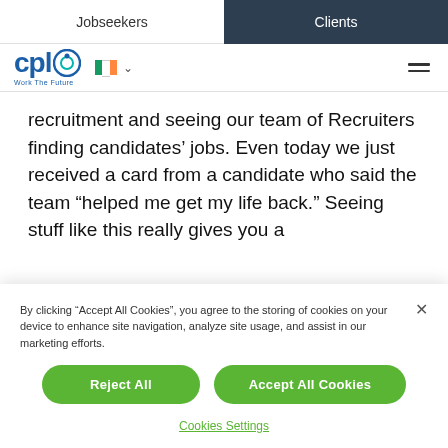Jobseekers | Clients
[Figure (logo): CPL logo with circular icon, Irish flag with dropdown chevron, and hamburger menu icon]
recruitment and seeing our team of Recruiters finding candidates' jobs. Even today we just received a card from a candidate who said the team "helped me get my life back." Seeing stuff like this really gives you a
By clicking "Accept All Cookies", you agree to the storing of cookies on your device to enhance site navigation, analyze site usage, and assist in our marketing efforts.
Reject All
Accept All Cookies
Cookies Settings